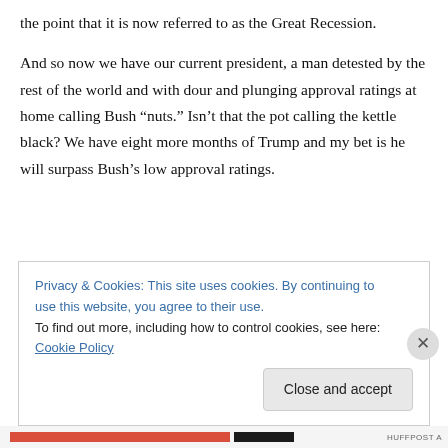the point that it is now referred to as the Great Recession.
And so now we have our current president, a man detested by the rest of the world and with dour and plunging approval ratings at home calling Bush “nuts.” Isn’t that the pot calling the kettle black? We have eight more months of Trump and my bet is he will surpass Bush’s low approval ratings.
Privacy & Cookies: This site uses cookies. By continuing to use this website, you agree to their use.
To find out more, including how to control cookies, see here: Cookie Policy